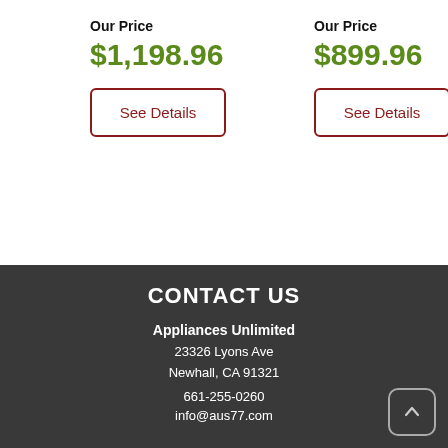Our Price
$1,198.96
See Details
Our Price
$899.96
See Details
CONTACT US
Appliances Unlimited
23326 Lyons Ave
Newhall, CA 91321
661-255-0260
info@aus77.com